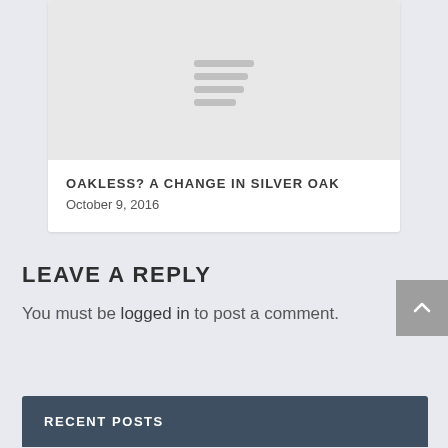[Figure (illustration): Placeholder image with horizontal lines indicating a text/image placeholder, gray background]
OAKLESS? A CHANGE IN SILVER OAK
October 9, 2016
LEAVE A REPLY
You must be logged in to post a comment.
RECENT POSTS